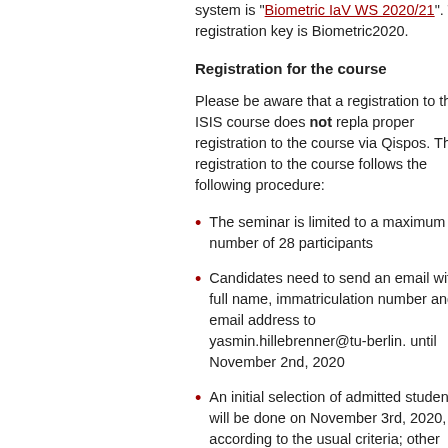system is "Biometric IaV WS 2020/21". The registration key is Biometric2020.
Registration for the course
Please be aware that a registration to the ISIS course does not replace a proper registration to the course via Qispos. The registration to the course follows the following procedure:
The seminar is limited to a maximum number of 28 participants
Candidates need to send an email with full name, immatriculation number and email address to yasmin.hillebrenner@tu-berlin. until November 2nd, 2020
An initial selection of admitted students will be done on November 3rd, 2020, according to the usual criteria; other